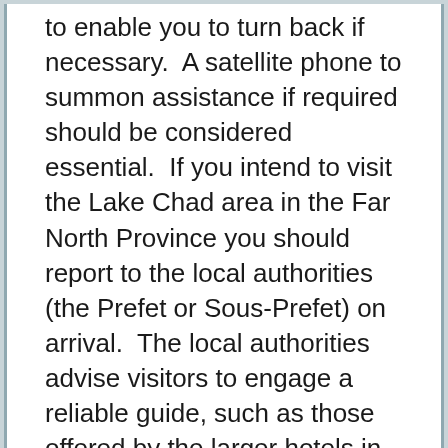to enable you to turn back if necessary.  A satellite phone to summon assistance if required should be considered essential.  If you intend to visit the Lake Chad area in the Far North Province you should report to the local authorities (the Prefet or Sous-Prefet) on arrival.  The local authorities advise visitors to engage a reliable guide, such as those offered by the larger hotels in Maroua.
The border with the Republic of Congo is closed.  Overland travel out of Cameroon can be difficult.  Gendarmerie detachments are posted along the road between Maroua and the Chadian border.
Roadblocks set up by the police or